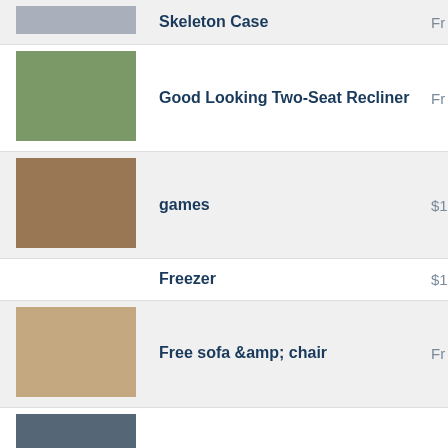| Image | Title | Price |
| --- | --- | --- |
| [image] | Skeleton Case | Fr... |
| [image] | Good Looking Two-Seat Recliner | Fr... |
| [image] | games | $1... |
| [no image] | Freezer | $1... |
| [image] | Free sofa &amp; chair | Fr... |
| [image] | Free Sit-stand desk device | Fr... |
| [image] | Free cubby shelf with cloth drawer inserts - new | Fr... |
| [image] | FREE Bush black desk - good condition | Fr... |
| [image] | Free Amana Range | Fr... |